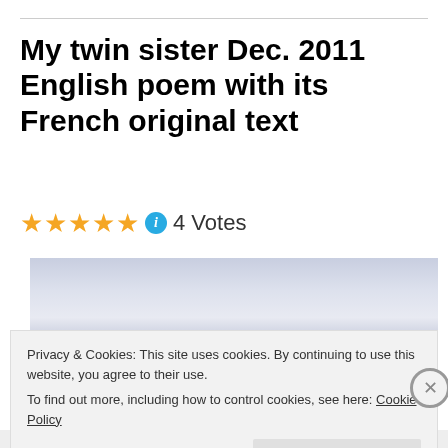My twin sister Dec. 2011 English poem with its French original text
4 Votes
[Figure (photo): Wide panoramic photo of a calm sea or ocean horizon with pale blue-grey sky, very minimal and serene.]
Privacy & Cookies: This site uses cookies. By continuing to use this website, you agree to their use.
To find out more, including how to control cookies, see here: Cookie Policy
Close and accept